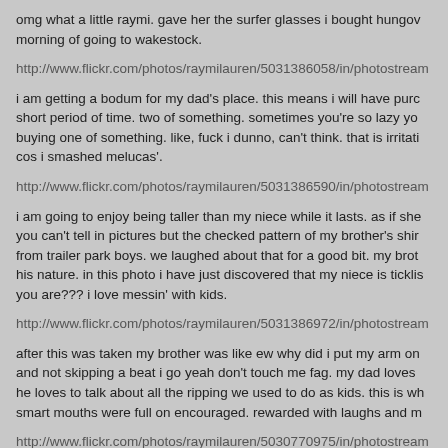omg what a little raymi. gave her the surfer glasses i bought hungov morning of going to wakestock.
http://www.flickr.com/photos/raymilauren/5031386058/in/photostream
i am getting a bodum for my dad's place. this means i will have purc short period of time. two of something. sometimes you're so lazy yo buying one of something. like, fuck i dunno, can't think. that is irritati cos i smashed melucas'.
http://www.flickr.com/photos/raymilauren/5031386590/in/photostream
i am going to enjoy being taller than my niece while it lasts. as if she you can't tell in pictures but the checked pattern of my brother's shir from trailer park boys. we laughed about that for a good bit. my brot his nature. in this photo i have just discovered that my niece is ticklis you are??? i love messin' with kids.
http://www.flickr.com/photos/raymilauren/5031386972/in/photostream
after this was taken my brother was like ew why did i put my arm on and not skipping a beat i go yeah don't touch me fag. my dad loves he loves to talk about all the ripping we used to do as kids. this is wh smart mouths were full on encouraged. rewarded with laughs and m
http://www.flickr.com/photos/raymilauren/5030770975/in/photostream